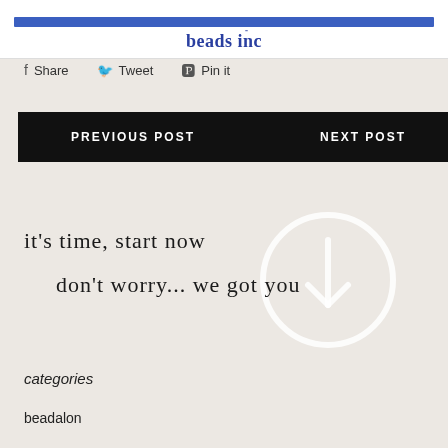beads inc
Share  Tweet  Pin it
PREVIOUS POST
NEXT POST
[Figure (infographic): Motivational text over a light beige background with a faint clock/arrow circle graphic. Text reads: "it's time, start now" and "don't worry... we got you"]
categories
beadalon